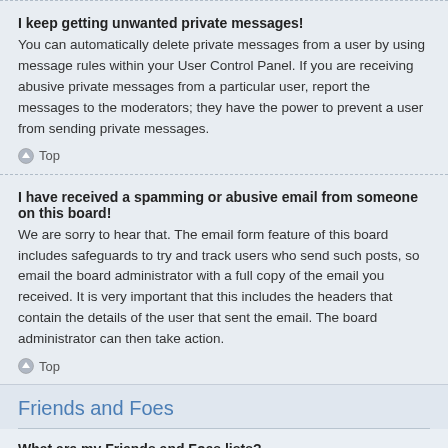I keep getting unwanted private messages!
You can automatically delete private messages from a user by using message rules within your User Control Panel. If you are receiving abusive private messages from a particular user, report the messages to the moderators; they have the power to prevent a user from sending private messages.
Top
I have received a spamming or abusive email from someone on this board!
We are sorry to hear that. The email form feature of this board includes safeguards to try and track users who send such posts, so email the board administrator with a full copy of the email you received. It is very important that this includes the headers that contain the details of the user that sent the email. The board administrator can then take action.
Top
Friends and Foes
What are my Friends and Foes lists?
You can use these lists to organise other members of the board. Members added to your friends list will be listed within your User Control Panel for quick access to see their online status and to send them private messages. Subject to template support, posts